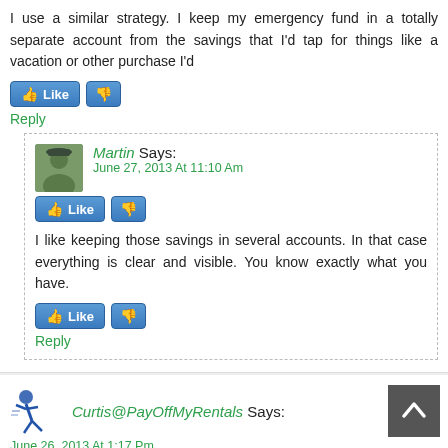I use a similar strategy. I keep my emergency fund in a totally separate account from the savings that I'd tap for things like a vacation or other purchase I'd
[Figure (other): Like and dislike buttons]
Reply
Martin Says:
June 27, 2013 At 11:10 Am
[Figure (other): Like and dislike buttons]
I like keeping those savings in several accounts. In that case everything is clear and visible. You know exactly what you have.
[Figure (other): Like and dislike buttons]
Reply
Curtis@PayOffMyRentals Says:
June 26, 2013 At 1:17 Pm
[Figure (other): Like and dislike buttons]